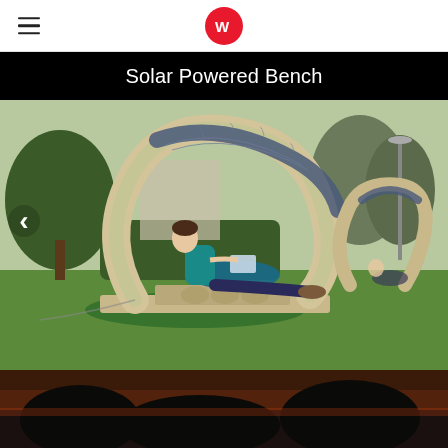W (logo)
[Figure (photo): Solar Powered Bench – A curvilinear wooden bench with integrated solar panel strip on top. A woman reclines on it using her phone in a park setting. A second bench is visible in the background. Navigation arrow on left side. Title overlay reads 'Solar Powered Bench'.]
[Figure (photo): Partial view of a second photo at the bottom edge of the page, showing a dark outdoor scene at dusk/sunset.]